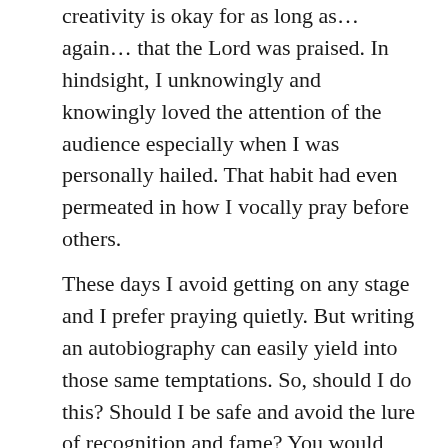creativity is okay for as long as... again... that the Lord was praised. In hindsight, I unknowingly and knowingly loved the attention of the audience especially when I was personally hailed. That habit had even permeated in how I vocally pray before others.
These days I avoid getting on any stage and I prefer praying quietly. But writing an autobiography can easily yield into those same temptations. So, should I do this? Should I be safe and avoid the lure of recognition and fame? You would think that that would be the right course. But the conviction I got from